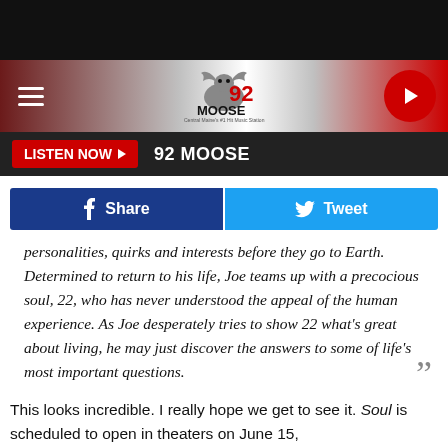[Figure (screenshot): Black top bar]
92 MOOSE radio station header with logo, hamburger menu, and play button
LISTEN NOW ▶   92 MOOSE
[Figure (other): Facebook Share and Twitter Tweet buttons]
personalities, quirks and interests before they go to Earth. Determined to return to his life, Joe teams up with a precocious soul, 22, who has never understood the appeal of the human experience. As Joe desperately tries to show 22 what's great about living, he may just discover the answers to some of life's most important questions.
This looks incredible. I really hope we get to see it. Soul is scheduled to open in theaters on June 15,